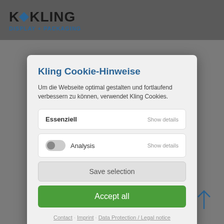[Figure (logo): K Kling Display + Packaging logo with blue diamond icon]
Kling Cookie-Hinweise
Um die Webseite optimal gestalten und fortlaufend verbessern zu können, verwendet Kling Cookies.
Essenziell  Show details
Analysis  Show details
Save selection
Accept all
Contact · Imprint · Data Protection / Legal notice